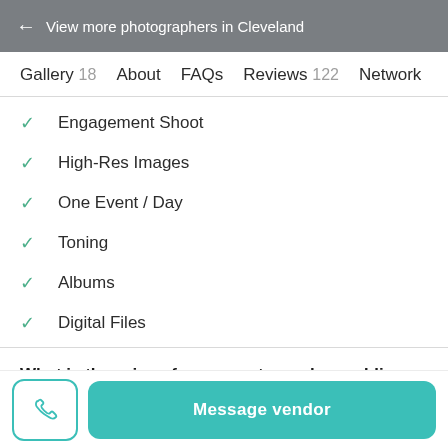← View more photographers in Cleveland
Gallery 18   About   FAQs   Reviews 122   Network
✓ Engagement Shoot
✓ High-Res Images
✓ One Event / Day
✓ Toning
✓ Albums
✓ Digital Files
What is the price of your most popular wedding
Message vendor